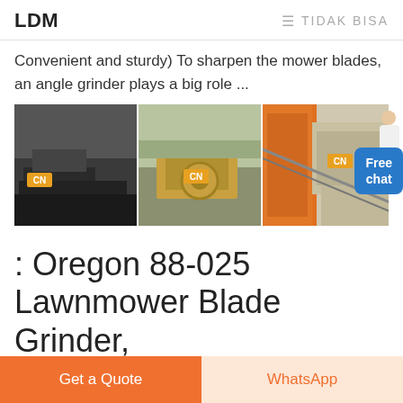LDM   ≡ TIDAK BISA
Convenient and sturdy) To sharpen the mower blades, an angle grinder plays a big role ...
[Figure (photo): Three industrial mining/crushing equipment photos side by side with CN branding, and a 'Free chat' blue button overlay with a person icon]
: Oregon 88-025 Lawnmower Blade Grinder,
Get a Quote   WhatsApp